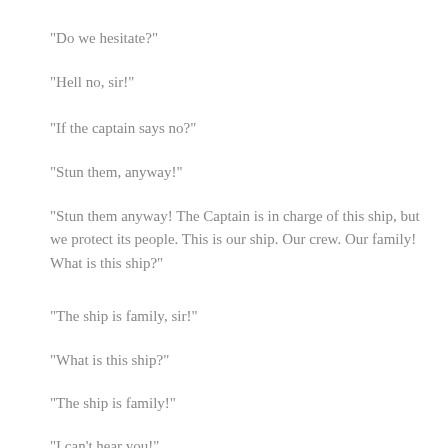“Do we hesitate?”
“Hell no, sir!”
“If the captain says no?”
“Stun them, anyway!”
“Stun them anyway! The Captain is in charge of this ship, but we protect its people. This is our ship. Our crew. Our family! What is this ship?”
“The ship is family, sir!”
“What is this ship?”
“The ship is family!”
“I can’t hear you!”